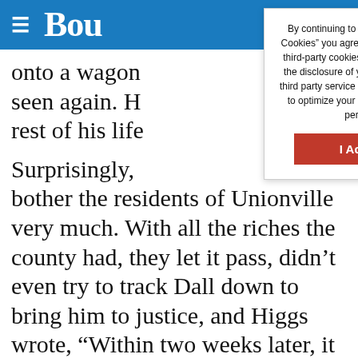Bou
By continuing to browse or by clicking “I Accept Cookies” you agree to the storing of first-party and third-party cookies on your device and consent to the disclosure of your personal information to our third party service providers or advertising partners to optimize your experience, analyze traffic and personalize content.
I Accept Cookies
onto a wagon
seen again. H
rest of his life

Surprisingly,
bother the residents of Unionville very much. With all the riches the county had, they let it pass, didn’t even try to track Dall down to bring him to justice, and Higgs wrote, “Within two weeks later, it is extremely doubtful anyone remembered anything about it. Water under the bridge, let’s move on.”